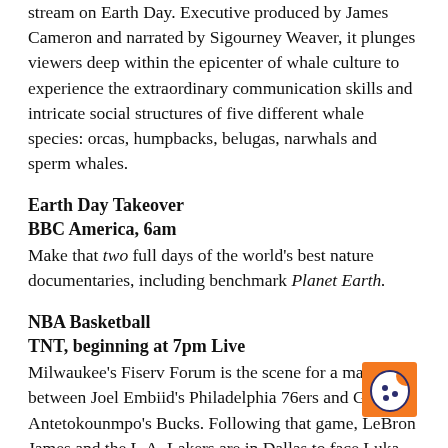stream on Earth Day. Executive produced by James Cameron and narrated by Sigourney Weaver, it plunges viewers deep within the epicenter of whale culture to experience the extraordinary communication skills and intricate social structures of five different whale species: orcas, humpbacks, belugas, narwhals and sperm whales.
Earth Day Takeover
BBC America, 6am
Make that two full days of the world’s best nature documentaries, including benchmark Planet Earth.
NBA Basketball
TNT, beginning at 7pm Live
Milwaukee’s Fiserv Forum is the scene for a matchup between Joel Embiid’s Philadelphia 76ers and Giannis Antetokounmpo’s Bucks. Following that game, LeBron James and the L.A. Lakers are in Dallas to face Luka Dončić and the Mavericks.
Station 19: “Get Up, Stand Up”
ABC, 8pm
[Figure (logo): Orange square cookie icon with a stylized cookie graphic in white and dark blue outline]